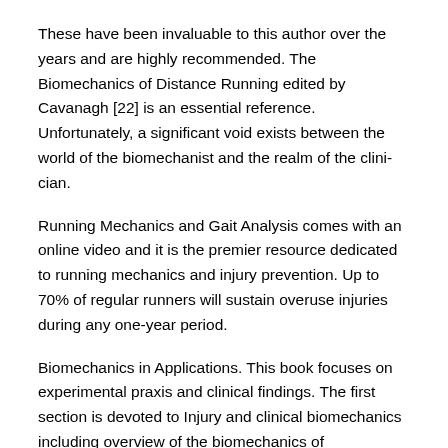These have been invaluable to this author over the years and are highly recommended. The Biomechanics of Distance Running edited by Cavanagh [22] is an essential reference. Unfortunately, a significant void exists between the world of the biomechanist and the realm of the clini-cian.
Running Mechanics and Gait Analysis comes with an online video and it is the premier resource dedicated to running mechanics and injury prevention. Up to 70% of regular runners will sustain overuse injuries during any one-year period.
Biomechanics in Applications. This book focuses on experimental praxis and clinical findings. The first section is devoted to Injury and clinical biomechanics including overview of the biomechanics of musculoskeletal injury, distraction osteogenesis in mandible, or consequences of drilling.
The book is intended for both students and researchers in mechanics and engineering interested in an overview of the concepts and methods used in Biomechanics and for researchers in Biomechanics